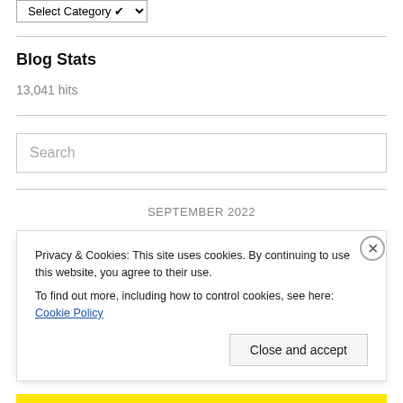Select Category
Blog Stats
13,041 hits
Search
SEPTEMBER 2022
Privacy & Cookies: This site uses cookies. By continuing to use this website, you agree to their use.
To find out more, including how to control cookies, see here: Cookie Policy
Close and accept